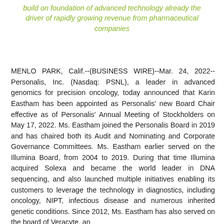build on foundation of advanced technology already the driver of rapidly growing revenue from pharmaceutical companies
MENLO PARK, Calif.--(BUSINESS WIRE)--Mar. 24, 2022-- Personalis, Inc. (Nasdaq: PSNL), a leader in advanced genomics for precision oncology, today announced that Karin Eastham has been appointed as Personalis' new Board Chair effective as of Personalis' Annual Meeting of Stockholders on May 17, 2022. Ms. Eastham joined the Personalis Board in 2019 and has chaired both its Audit and Nominating and Corporate Governance Committees. Ms. Eastham earlier served on the Illumina Board, from 2004 to 2019. During that time Illumina acquired Solexa and became the world leader in DNA sequencing, and also launched multiple initiatives enabling its customers to leverage the technology in diagnostics, including oncology, NIPT, infectious disease and numerous inherited genetic conditions. Since 2012, Ms. Eastham has also served on the board of Veracyte, an